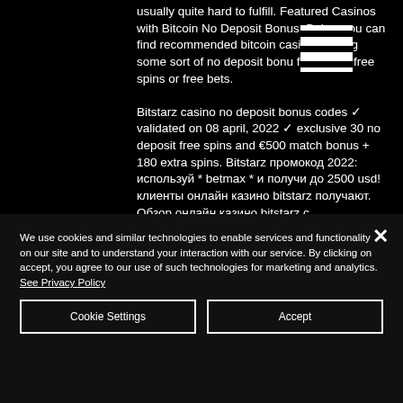usually quite hard to fulfill. Featured Casinos with Bitcoin No Deposit Bonus. Below you can find recommended bitcoin casinos offering some sort of no deposit bonus, free cash, free spins or free bets. Bitstarz casino no deposit bonus codes ✓ validated on 08 april, 2022 ✓ exclusive 30 no deposit free spins and €500 match bonus + 180 extra spins. Bitstarz промокод 2022: используй * betmax * и получи до 2500 usd! клиенты онлайн казино bitstarz получают. Обзор онлайн казино bitstarz с
We use cookies and similar technologies to enable services and functionality on our site and to understand your interaction with our service. By clicking on accept, you agree to our use of such technologies for marketing and analytics. See Privacy Policy